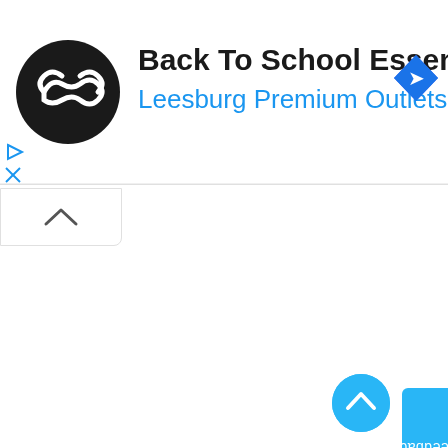[Figure (screenshot): Ad banner for 'Back To School Essentials' at Leesburg Premium Outlets, with a black circular logo with white infinity/chain icon, a blue diamond navigation icon, and ad control icons (play and close) on the left side]
[Figure (screenshot): Collapse/chevron up button in a white rounded rectangle at top left of content area]
[Figure (screenshot): Feedback tab on the right side: vertical cyan/blue rectangle with 'Feedback' text rotated and a smiley face envelope icon]
[Figure (screenshot): Back to top circular button in cyan/blue with chevron up icon, bottom right area]